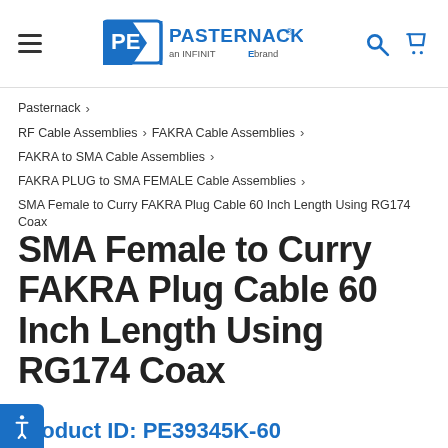[Figure (logo): Pasternack logo — PE shield icon with 'PASTERNACK an INFINITE brand' text in blue]
Pasternack > RF Cable Assemblies > FAKRA Cable Assemblies > FAKRA to SMA Cable Assemblies > FAKRA PLUG to SMA FEMALE Cable Assemblies > SMA Female to Curry FAKRA Plug Cable 60 Inch Length Using RG174 Coax
SMA Female to Curry FAKRA Plug Cable 60 Inch Length Using RG174 Coax
Product ID: PE39345K-60